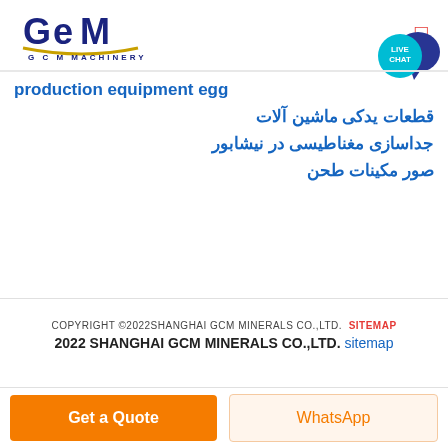[Figure (logo): GCM Machinery logo with blue stylized 'GCM' text and gold underline, subtitle 'G C M  MACHINERY']
production equipment egg
قطعات یدکی ماشین آلات
جداسازی مغناطیسی در نیشابور
صور مکینات طحن
COPYRIGHT ©2022SHANGHAI GCM MINERALS CO.,LTD.  SITEMAP
2022 SHANGHAI GCM MINERALS CO.,LTD. sitemap
Get a Quote
WhatsApp